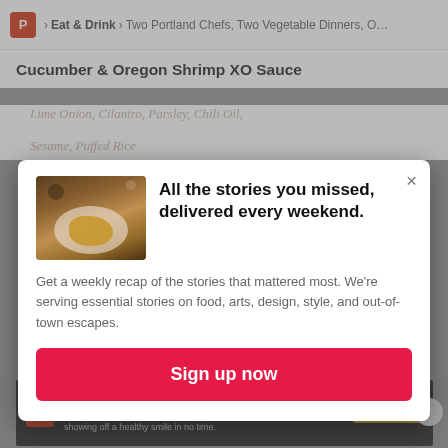P > Eat & Drink > Two Portland Chefs, Two Vegetable Dinners, O
Cucumber & Oregon Shrimp XO Sauce
[Figure (screenshot): Newsletter signup modal overlay on a food/lifestyle website. Contains a food photo, headline 'All the stories you missed, delivered every weekend.', body text about weekly recap, and a red 'Sign up now' button. Background shows dimmed page with article content and an advertisement banner.]
All the stories you missed, delivered every weekend.
Get a weekly recap of the stories that mattered most. We're serving essential stories on food, arts, design, style, and out-of-town escapes.
Sign up now